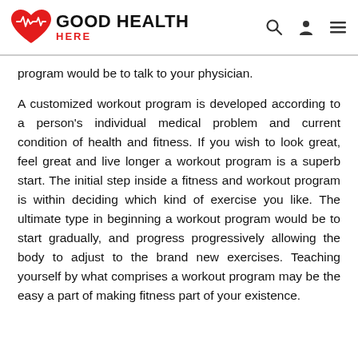GOOD HEALTH HERE
program would be to talk to your physician.
A customized workout program is developed according to a person's individual medical problem and current condition of health and fitness. If you wish to look great, feel great and live longer a workout program is a superb start. The initial step inside a fitness and workout program is within deciding which kind of exercise you like. The ultimate type in beginning a workout program would be to start gradually, and progress progressively allowing the body to adjust to the brand new exercises. Teaching yourself by what comprises a workout program may be the easy a part of making fitness part of your existence.